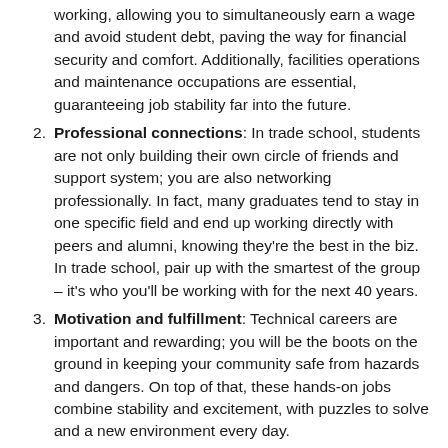working, allowing you to simultaneously earn a wage and avoid student debt, paving the way for financial security and comfort. Additionally, facilities operations and maintenance occupations are essential, guaranteeing job stability far into the future.
Professional connections: In trade school, students are not only building their own circle of friends and support system; you are also networking professionally. In fact, many graduates tend to stay in one specific field and end up working directly with peers and alumni, knowing they're the best in the biz. In trade school, pair up with the smartest of the group – it's who you'll be working with for the next 40 years.
Motivation and fulfillment: Technical careers are important and rewarding; you will be the boots on the ground in keeping your community safe from hazards and dangers. On top of that, these hands-on jobs combine stability and excitement, with puzzles to solve and a new environment every day.
Community empowerment: Analysts often look to the construction industry to determine the state of the economy nationwide, as filled trade positions